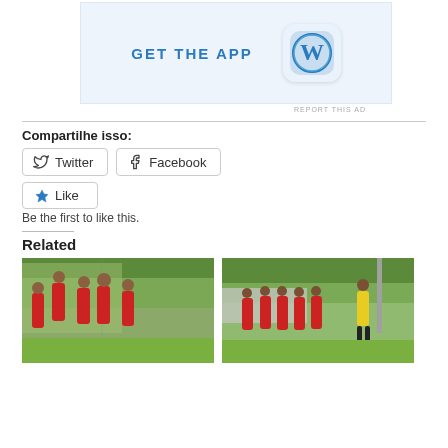[Figure (screenshot): WordPress 'GET THE APP' advertisement banner with WordPress logo icon on light blue background]
REPORT THIS AD
Compartilhe isso:
Twitter  Facebook
Like
Be the first to like this.
Related
[Figure (photo): Soccer players in red uniforms celebrating on a field]
[Figure (photo): Soccer players in red uniforms with a referee in yellow on a field]